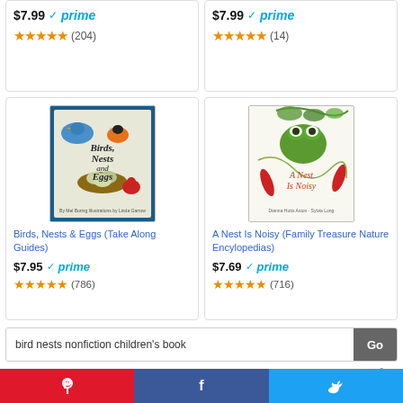$7.99 prime (204)
$7.99 prime (14)
[Figure (illustration): Book cover: Birds, Nests and Eggs illustration with birds and eggs]
Birds, Nests & Eggs (Take Along Guides)
$7.95 prime ★★★★★ (786)
[Figure (illustration): Book cover: A Nest Is Noisy with colorful nature illustration]
A Nest Is Noisy (Family Treasure Nature Encylopedias)
$7.69 prime ★★★★★ (716)
bird nests nonfiction children&#39;s book
Go
Ads by Amazon
MONTESSORI INSPIRED ACTIVITIES USING